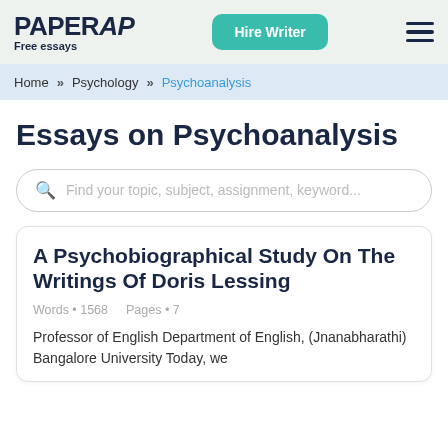PAPERAP Free essays | Hire Writer
Home >> Psychology >> Psychoanalysis
Essays on Psychoanalysis
Find your topic, subject, assignment, keyword...
A Psychobiographical Study On The Writings Of Doris Lessing
Words • 1568   Pages • 7
Professor of English Department of English, (Jnanabharathi) Bangalore University Today, we